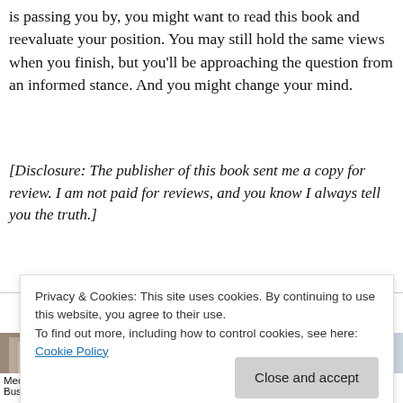is passing you by, you might want to read this book and reevaluate your position. You may still hold the same views when you finish, but you'll be approaching the question from an informed stance. And you might change your mind.
[Disclosure: The publisher of this book sent me a copy for review. I am not paid for reviews, and you know I always tell you the truth.]
You might also like
[Figure (photo): Four thumbnail images of book covers or related media in a row]
Media: a Busi...
Social Media
for Business. Book...
Privacy & Cookies: This site uses cookies. By continuing to use this website, you agree to their use.
To find out more, including how to control cookies, see here: Cookie Policy